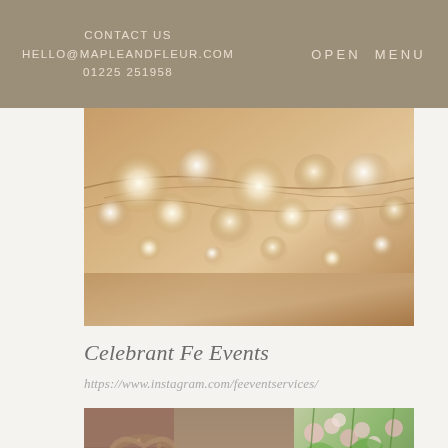CONTACT US
HELLO@MAPLEANDFLEUR.COM
01225 251958
OPEN MENU
[Figure (photo): Close-up photo of decorative bokeh lighting with glass orb ornaments hanging from branches over a warm wooden surface, soft focus warm tones]
Celebrant Fe Events
https://www.instagram.com/feeventservices/
[Figure (photo): Wedding ceremony photo showing a celebrant officiating, with a rustic wicker heart wreath decoration on the left and a floral greenery arch on the right, bride and groom from behind]